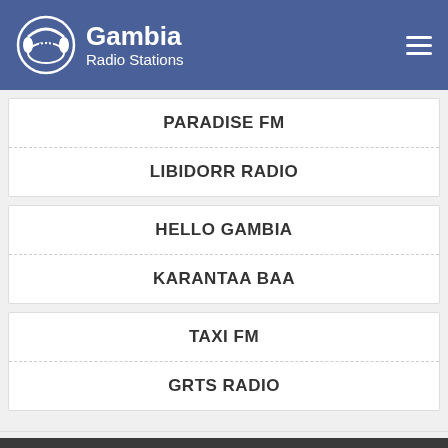Gambia Radio Stations
PARADISE FM
LIBIDORR RADIO
HELLO GAMBIA
KARANTAA BAA
TAXI FM
GRTS RADIO